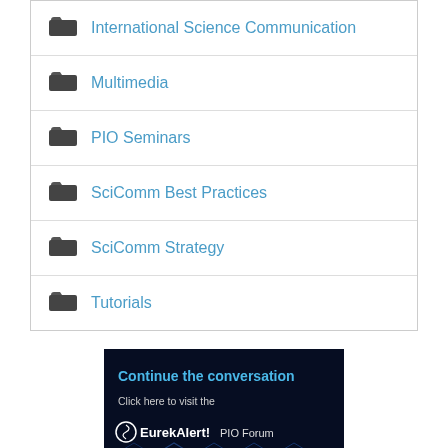International Science Communication
Multimedia
PIO Seminars
SciComm Best Practices
SciComm Strategy
Tutorials
[Figure (illustration): EurekAlert! PIO Forum banner: dark blue background with hexagonal pattern, text reading 'Continue the conversation', 'Click here to visit the', and the EurekAlert! PIO Forum logo.]